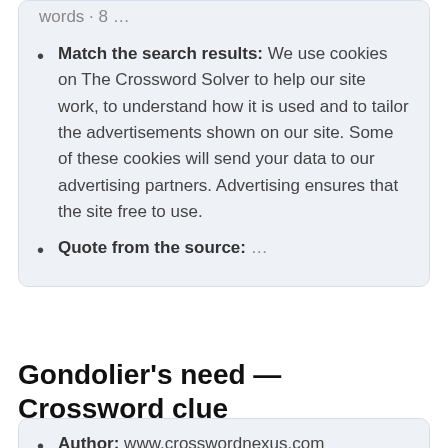words · 8 …
Match the search results: We use cookies on The Crossword Solver to help our site work, to understand how it is used and to tailor the advertisements shown on our site. Some of these cookies will send your data to our advertising partners. Advertising ensures that the site free to use.
Quote from the source: …
Gondolier's need — Crossword clue
Author: www.crosswordnexus.com